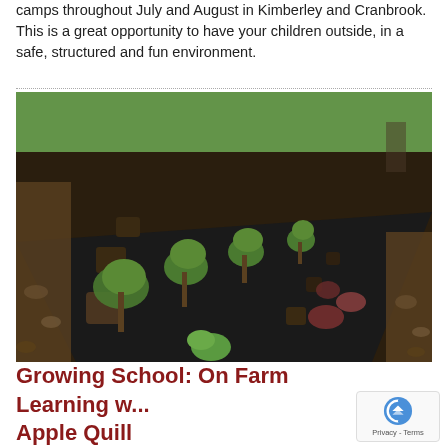camps throughout July and August in Kimberley and Cranbrook. This is a great opportunity to have your children outside, in a safe, structured and fun environment.
[Figure (photo): A garden bed with young vegetable plants growing through black plastic mulch sheeting, with lettuce and pepper-like seedlings visible in rows, soil and leaf debris visible on the sides.]
Growing School: On Farm Learning w... Apple Quill